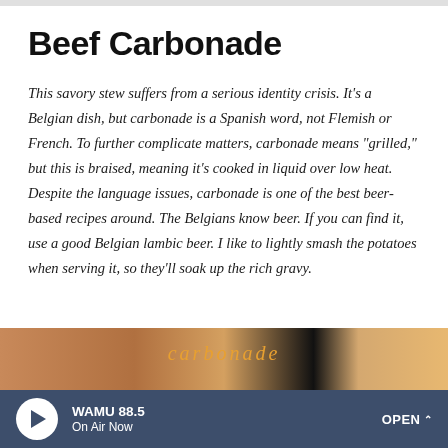Beef Carbonade
This savory stew suffers from a serious identity crisis. It's a Belgian dish, but carbonade is a Spanish word, not Flemish or French. To further complicate matters, carbonade means "grilled," but this is braised, meaning it's cooked in liquid over low heat. Despite the language issues, carbonade is one of the best beer-based recipes around. The Belgians know beer. If you can find it, use a good Belgian lambic beer. I like to lightly smash the potatoes when serving it, so they'll soak up the rich gravy.
[Figure (photo): Partial view of a food photograph showing beef carbonade dish with warm brown and amber tones]
WAMU 88.5  On Air Now  OPEN ^